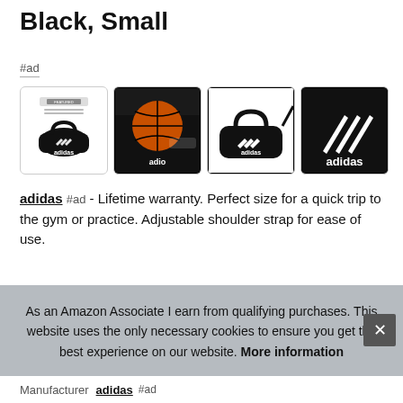Black, Small
#ad
[Figure (photo): Four thumbnail images of an adidas duffel bag (black with white adidas logo): first shows product listing view with 'FEATURED' label, second shows bag open with basketball inside, third shows full bag front view, fourth shows close-up of adidas logo on bag.]
adidas #ad - Lifetime warranty. Perfect size for a quick trip to the gym or practice. Adjustable shoulder strap for ease of use.
As an Amazon Associate I earn from qualifying purchases. This website uses the only necessary cookies to ensure you get the best experience on our website. More information
Manufacturer adidas #ad